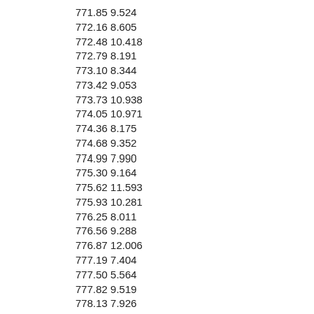| col1 | col2 |
| --- | --- |
| 771.85 | 9.524 |
| 772.16 | 8.605 |
| 772.48 | 10.418 |
| 772.79 | 8.191 |
| 773.10 | 8.344 |
| 773.42 | 9.053 |
| 773.73 | 10.938 |
| 774.05 | 10.971 |
| 774.36 | 8.175 |
| 774.68 | 9.352 |
| 774.99 | 7.990 |
| 775.30 | 9.164 |
| 775.62 | 11.593 |
| 775.93 | 10.281 |
| 776.25 | 8.011 |
| 776.56 | 9.288 |
| 776.87 | 12.006 |
| 777.19 | 7.404 |
| 777.50 | 5.564 |
| 777.82 | 9.519 |
| 778.13 | 7.926 |
| 778.44 | 6.041 |
| 778.76 | 7.986 |
| 779.07 | 6.926 |